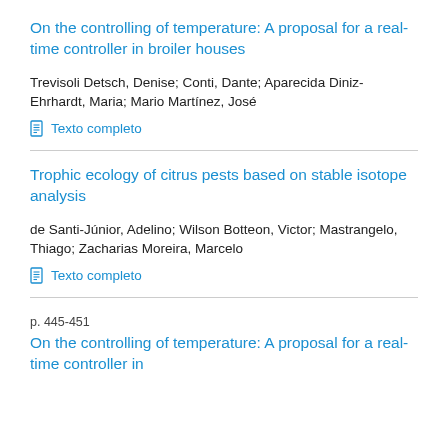On the controlling of temperature: A proposal for a real-time controller in broiler houses
Trevisoli Detsch, Denise; Conti, Dante; Aparecida Diniz-Ehrhardt, Maria; Mario Martínez, José
Texto completo
Trophic ecology of citrus pests based on stable isotope analysis
de Santi-Júnior, Adelino; Wilson Botteon, Victor; Mastrangelo, Thiago; Zacharias Moreira, Marcelo
Texto completo
p. 445-451
On the controlling of temperature: A proposal for a real-time controller in